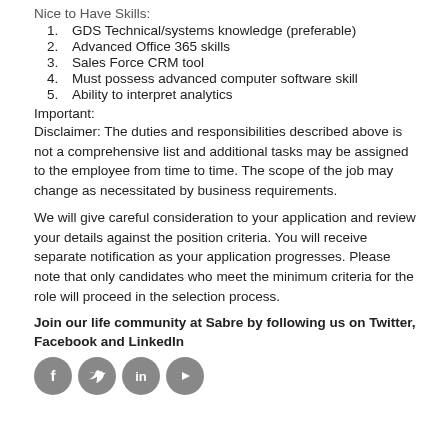Nice to Have Skills:
GDS Technical/systems knowledge (preferable)
Advanced Office 365 skills
Sales Force CRM tool
Must possess advanced computer software skill
Ability to interpret analytics
Important:
Disclaimer: The duties and responsibilities described above is not a comprehensive list and additional tasks may be assigned to the employee from time to time. The scope of the job may change as necessitated by business requirements.
We will give careful consideration to your application and review your details against the position criteria. You will receive separate notification as your application progresses. Please note that only candidates who meet the minimum criteria for the role will proceed in the selection process.
Join our life community at Sabre by following us on Twitter, Facebook and LinkedIn
[Figure (illustration): Four social media icons in grey circles: Facebook (f), Twitter (bird), LinkedIn (in), YouTube (play button)]